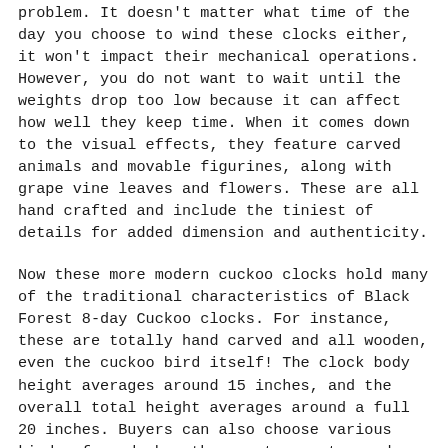problem. It doesn't matter what time of the day you choose to wind these clocks either, it won't impact their mechanical operations. However, you do not want to wait until the weights drop too low because it can affect how well they keep time. When it comes down to the visual effects, they feature carved animals and movable figurines, along with grape vine leaves and flowers. These are all hand crafted and include the tiniest of details for added dimension and authenticity.
Now these more modern cuckoo clocks hold many of the traditional characteristics of Black Forest 8-day Cuckoo clocks. For instance, these are totally hand carved and all wooden, even the cuckoo bird itself! The clock body height averages around 15 inches, and the overall total height averages around a full 20 inches. Buyers can also choose various kinds of wood when they want a custom made cuckoo clock, or if they are shopping for one pre-made then they can also choose among many wood grains and designs. The more commo choices are: dark mahogany, walnut, natural light,
Back to top